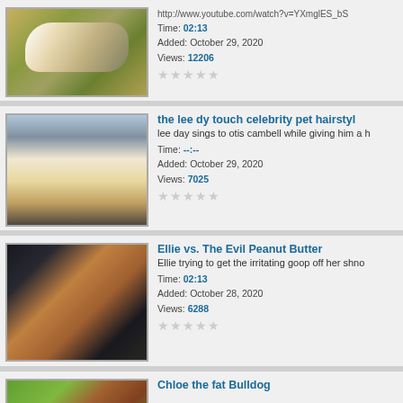[Figure (screenshot): Video listing 1: White tiger video thumbnail with URL, time 02:13, Added October 29 2020, Views 12206, star rating]
[Figure (screenshot): Video listing 2: the lee dy touch celebrity pet hairstyle - woman grooming a dog, time --:--, Added October 29 2020, Views 7025, star rating]
[Figure (screenshot): Video listing 3: Ellie vs. The Evil Peanut Butter - dog close-up, time 02:13, Added October 28 2020, Views 6288, star rating]
[Figure (screenshot): Video listing 4: Chloe the fat Bulldog - partial thumbnail visible]